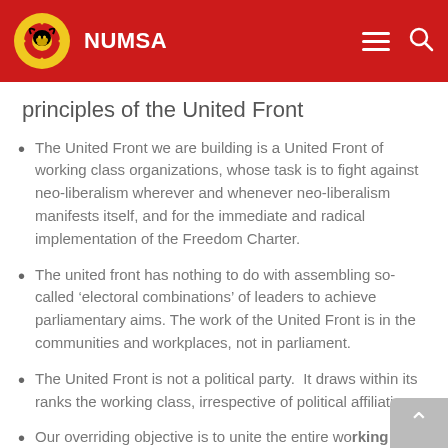NUMSA
principles of the United Front
The United Front we are building is a United Front of working class organizations, whose task is to fight against neo-liberalism wherever and whenever neo-liberalism manifests itself, and for the immediate and radical implementation of the Freedom Charter.
The united front has nothing to do with assembling so-called ‘electoral combinations’ of leaders to achieve parliamentary aims. The work of the United Front is in the communities and workplaces, not in parliament.
The United Front is not a political party.  It draws within its ranks the working class, irrespective of political affiliation
Our overriding objective is to unite the entire working